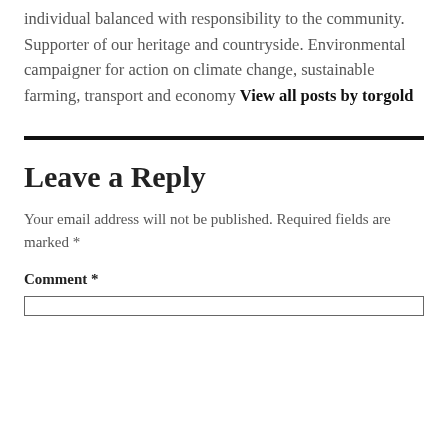individual balanced with responsibility to the community. Supporter of our heritage and countryside. Environmental campaigner for action on climate change, sustainable farming, transport and economy View all posts by torgold
Leave a Reply
Your email address will not be published. Required fields are marked *
Comment *